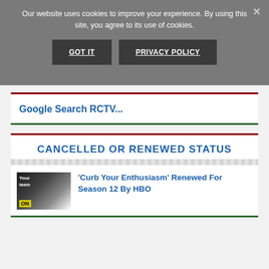Our website uses cookies to improve your experience. By using this site, you agree to its use of cookies.
GOT IT
PRIVACY POLICY
Google Search RCTV...
CANCELLED OR RENEWED STATUS
'Curb Your Enthusiasm' Renewed For Season 12 By HBO